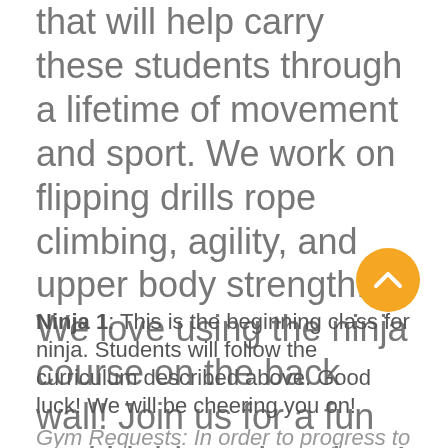that will help carry these students through a lifetime of movement and sport. We work on flipping drills rope climbing, agility, and upper body strength. We love using the ninja course on the back wall! Join us for a fun and highly active class!
Ninja 1: This is the beginning class for ninja. Students will follow the curriculum described above. Good luck! We will be cheering you on!
Gym Requests: In order to progress to Ninja...